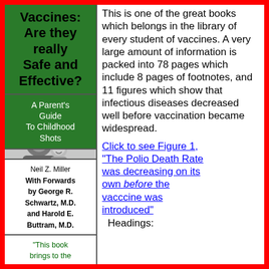Vaccines: Are they really Safe and Effective?
A Parent's Guide To Childhood Shots
[Figure (photo): Black and white photo of a mother and child smiling together]
Neil Z. Miller With Forwards by George R. Schwartz, M.D. and Harold E. Buttram, M.D.
"This book brings to the
This is one of the great books which belongs in the library of every student of vaccines. A very large amount of information is packed into 78 pages which include 8 pages of footnotes, and 11 figures which show that infectious diseases decreased well before vaccination became widespread.
Click to see Figure 1, "The Polio Death Rate was decreasing on its own before the vacccine was introduced"
Headings: